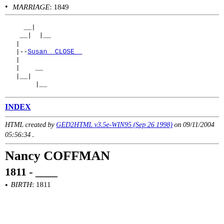MARRIAGE: 1849
[Figure (other): Genealogy tree diagram showing ancestry lines with Susan CLOSE linked]
INDEX
HTML created by GED2HTML v3.5e-WIN95 (Sep 26 1998) on 09/11/2004 05:56:34 .
Nancy COFFMAN
1811 - ____
BIRTH: 1811